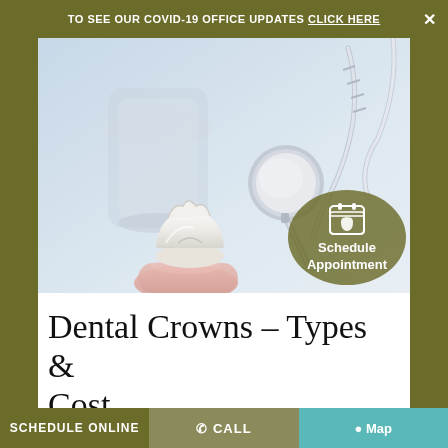TO SEE OUR COVID-19 OFFICE UPDATES CLICK HERE ✕
[Figure (photo): Close-up photo of a dental crown (white porcelain tooth) held by fingers, with dental instruments including a mirror and probe in the background on a light blue surface.]
[Figure (infographic): Round olive-colored overlay button showing a calendar/tooth icon with text 'Schedule Appointment']
Dental Crowns – Types & Cost
By : Admin | September 16, 2020
SCHEDULE ONLINE | CALL | Map